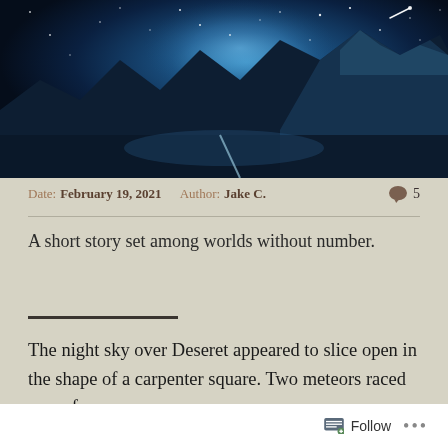[Figure (photo): Night sky over mountains with stars and Milky Way, mountains reflected in a lake below, a shooting star visible in upper right]
Date: February 19, 2021   Author: Jake C.   💬 5
A short story set among worlds without number.
The night sky over Deseret appeared to slice open in the shape of a carpenter square. Two meteors raced away from
Follow ...